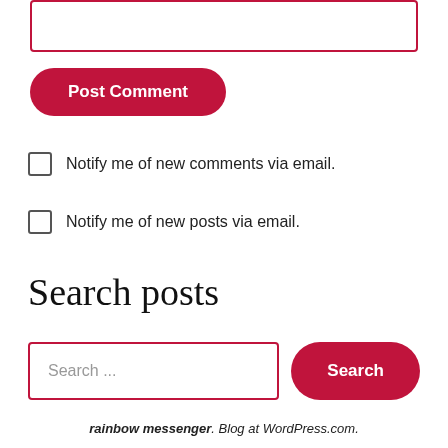[Figure (screenshot): Text input box with red border at top of page]
Post Comment
Notify me of new comments via email.
Notify me of new posts via email.
Search posts
Search ...
rainbow messenger. Blog at WordPress.com.